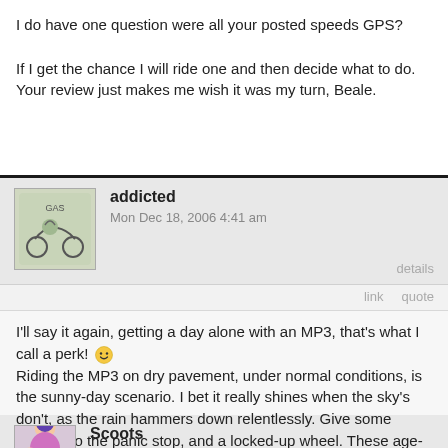I do have one question were all your posted speeds GPS?

If I get the chance I will ride one and then decide what to do. Your review just makes me wish it was my turn, Beale.
addicted
Mon Dec 18, 2006 4:41 am
I'll say it again, getting a day alone with an MP3, that's what I call a perk! Riding the MP3 on dry pavement, under normal conditions, is the sunny-day scenario. I bet it really shines when the sky's don't, as the rain hammers down relentlessly. Give some thought to the panic stop, and a locked-up wheel. These age-old moto-problems may just be history.
Scoots
Mon Dec 18, 2006 5:02 am